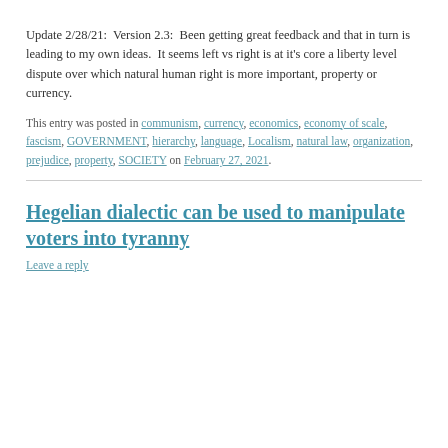Update 2/28/21:  Version 2.3:  Been getting great feedback and that in turn is leading to my own ideas.  It seems left vs right is at it's core a liberty level dispute over which natural human right is more important, property or currency.
This entry was posted in communism, currency, economics, economy of scale, fascism, GOVERNMENT, hierarchy, language, Localism, natural law, organization, prejudice, property, SOCIETY on February 27, 2021.
Hegelian dialectic can be used to manipulate voters into tyranny
Leave a reply